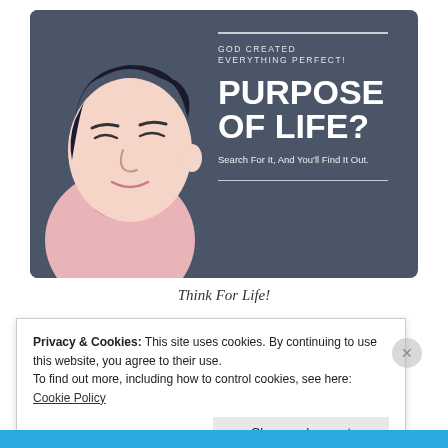[Figure (illustration): A dark blue-grey card with a cartoon illustration of a person looking upward on the left, and text on the right reading 'GOD CREATED EVERYTHING PERFECT!' above large bold text 'PURPOSE OF LIFE?' with smaller text 'Search For It, And You'll Find It Out.' and horizontal white lines above and below the text block.]
Think For Life!
Privacy & Cookies: This site uses cookies. By continuing to use this website, you agree to their use.
To find out more, including how to control cookies, see here: Cookie Policy
Close and accept